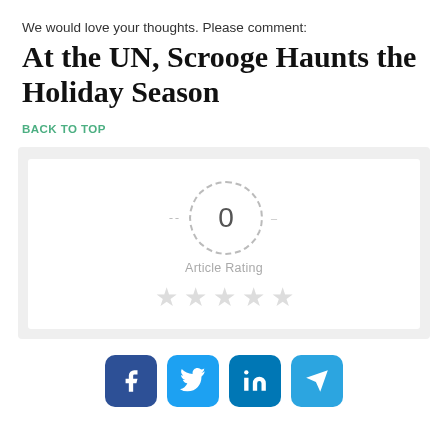We would love your thoughts. Please comment:
At the UN, Scrooge Haunts the Holiday Season
BACK TO TOP
[Figure (infographic): Article rating widget showing 0 rating inside a dashed circle, 'Article Rating' label, and 5 empty grey stars below]
[Figure (infographic): Social share buttons: Facebook (dark blue), Twitter (light blue), LinkedIn (dark blue), Telegram (light blue)]